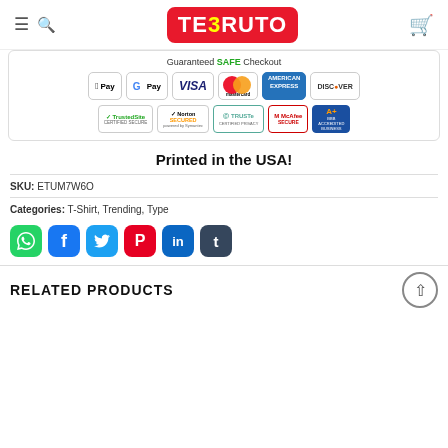TEERUTO — navigation header with logo, hamburger menu, search, and cart
[Figure (infographic): Guaranteed SAFE Checkout banner with payment logos: Apple Pay, Google Pay, Visa, Mastercard, American Express, Discover, TrustedSite, Norton Secured, TRUSTe, McAfee Secure, BBB Accredited Business]
Printed in the USA!
SKU: ETUM7W6O
Categories: T-Shirt, Trending, Type
[Figure (infographic): Social share buttons: WhatsApp, Facebook, Twitter, Pinterest, LinkedIn, Tumblr]
RELATED PRODUCTS